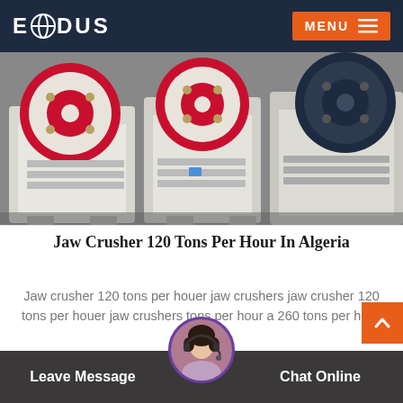EXODUS   MENU
[Figure (photo): Industrial jaw crushers lined up in a row, white and cream colored machines with large red and dark blue/black flywheel discs, industrial crushing equipment]
Jaw Crusher 120 Tons Per Hour In Algeria
Jaw crusher 120 tons per houer jaw crushers jaw crusher 120 tons per houer jaw crushers tons per hour a 260 tons per ho…
READ MORE
[Figure (photo): Customer support agent avatar — woman wearing headset, circular portrait in purple border]
Leave Message   Chat Online